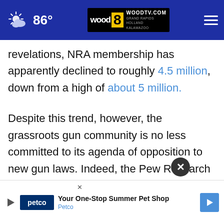86° WOODTV.COM GRAND RAPIDS HOLLAND KALAMAZOO
revelations, NRA membership has apparently declined to roughly 4.5 million, down from a high of about 5 million.
Despite this trend, however, the grassroots gun community is no less committed to its agenda of opposition to new gun laws. Indeed, the Pew Research Center's findings in 2017 suggested that about 14 million people identify with the group. By any measure, that's a small minority out of near 260 million
[Figure (screenshot): Petco advertisement banner: 'Your One-Stop Summer Pet Shop - Petco' with Petco logo and navigation arrow icon]